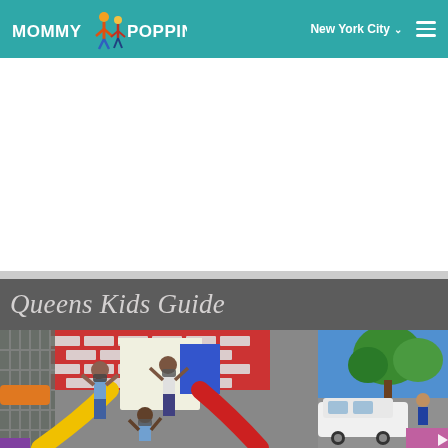MOMMY POPPINS — New York City
[Figure (illustration): White advertisement space placeholder]
Queens Kids Guide
[Figure (photo): Two masked children playing on colorful indoor playground equipment with slides — yellow and red slides, red brick-patterned wall]
[Figure (photo): Outdoor scene with green trees and blue sky, people visible near a white vehicle]